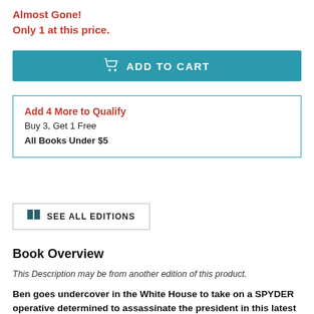Almost Gone!
Only 1 at this price.
ADD TO CART
Add 4 More to Qualify
Buy 3, Get 1 Free
All Books Under $5
SEE ALL EDITIONS
Book Overview
This Description may be from another edition of this product.
Ben goes undercover in the White House to take on a SPYDER operative determined to assassinate the president in this latest addition to the New York Times bestselling Spy